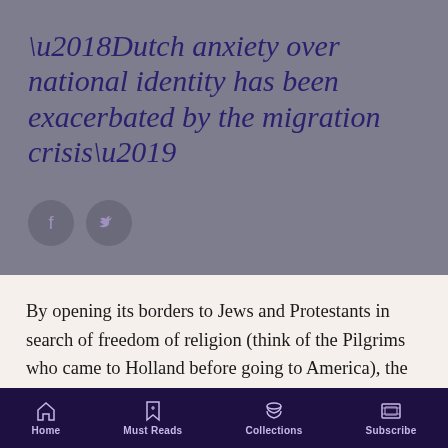‘Dutch anxiety over national identity has been exacerbated by the migration crisis’
[Figure (other): Two circular social media icons (Facebook and Twitter) on grey background]
By opening its borders to Jews and Protestants in search of freedom of religion (think of the Pilgrims who came to Holland before going to America), the Dutch gained a somewhat deserved reputation for tolerance. I say “somewhat” because this same openness did not extend to Catholics, whose religion was that of the hated Spanish king the Dutch had once been subject to. As a result, Catholicism was
Home  Must Reads  Collections  Subscribe